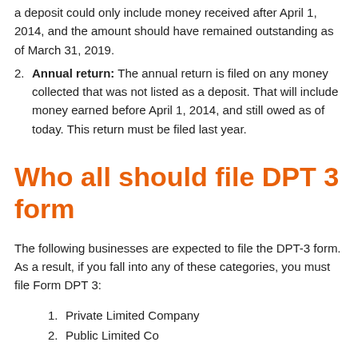a deposit could only include money received after April 1, 2014, and the amount should have remained outstanding as of March 31, 2019.
Annual return: The annual return is filed on any money collected that was not listed as a deposit. That will include money earned before April 1, 2014, and still owed as of today. This return must be filed last year.
Who all should file DPT 3 form
The following businesses are expected to file the DPT-3 form. As a result, if you fall into any of these categories, you must file Form DPT 3:
Private Limited Company
Public Limited Company